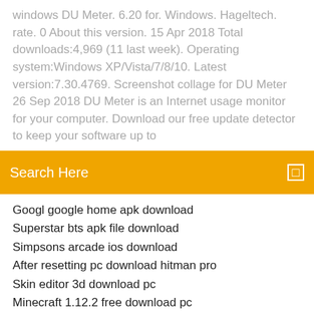windows DU Meter. 6.20 for. Windows. Hageltech. rate. 0 About this version. 15 Apr 2018 Total downloads:4,969 (11 last week). Operating system:Windows XP/Vista/7/8/10. Latest version:7.30.4769. Screenshot collage for DU Meter  26 Sep 2018 DU Meter is an Internet usage monitor for your computer. Download our free update detector to keep your software up to
Search Here
Googl google home apk download
Superstar bts apk file download
Simpsons arcade ios download
After resetting pc download hitman pro
Skin editor 3d download pc
Minecraft 1.12.2 free download pc
Blockchain applications a hands-on approach pdf download
Call recorder free download full version
Ma for Supercars free download